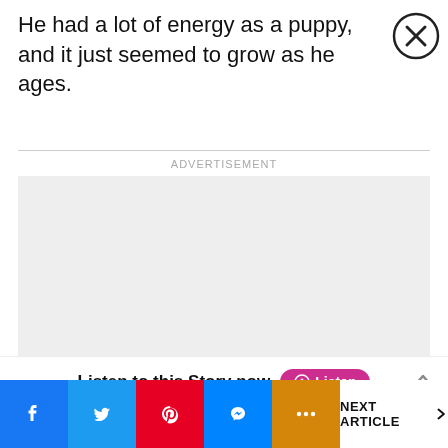He had a lot of energy as a puppy, and it just seemed to grow as he ages.
[Figure (other): Advertisement placeholder box (gray rectangle)]
Listen to this Story now  Listen
[Figure (other): Social sharing bar with Facebook, Twitter, Pinterest, Messenger, and more buttons, plus NEXT ARTICLE navigation]